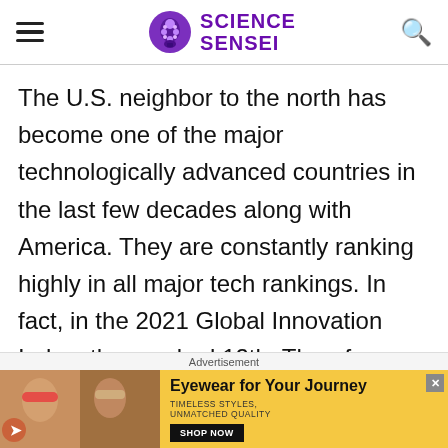SCIENCE SENSEI
The U.S. neighbor to the north has become one of the major technologically advanced countries in the last few decades along with America. They are constantly ranking highly in all major tech rankings. In fact, in the 2021 Global Innovation Index, they ranked 12th. Therefore, we know Canada is only producing more and more great
Advertisement
[Figure (photo): Advertisement banner for eyewear brand showing two women wearing sunglasses with text 'Eyewear for Your Journey', 'TIMELESS STYLES, UNMATCHED QUALITY' and a 'SHOP NOW' button on yellow background.]